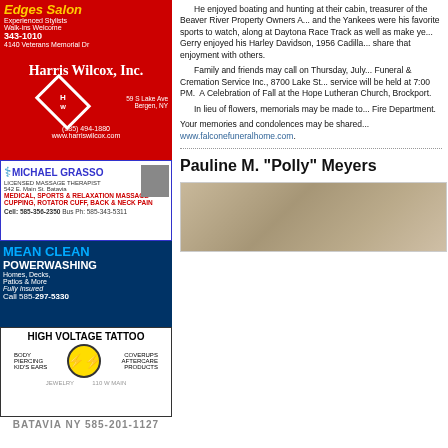[Figure (illustration): Edges Salon advertisement with red background, showing stylists info, phone 343-1010, 4140 Veterans Memorial Dr]
[Figure (logo): Harris Wilcox Inc. advertisement, red background, diamond logo with H/W, phone (585) 494-1880, 59 S Lake Ave Bergen NY, www.harriswilcox.com]
[Figure (illustration): Michael Grasso Licensed Massage Therapist advertisement, 542 E. Main St. Batavia, medical sports relaxation massage, cupping rotator cuff back neck pain, Cell: 585-356-2350 Bus Ph: 585-343-5311]
[Figure (illustration): Mean Clean Powerwashing advertisement, blue background, homes decks patios and more, fully insured, Call 585-297-5330]
[Figure (illustration): High Voltage Tattoo advertisement, body piercing, coverups, aftercare products, kid's ears, smiley face logo with lightning bolts, jewelry, 110 W Main, Batavia NY 585-201-1127]
[Figure (illustration): Complete Powder Coating advertisement]
He enjoyed boating and hunting at their cabin, treasurer of the Beaver River Property Owners A... and the Yankees were his favorite sports to watch, along at Daytona Race Track as well as make ye... Gerry enjoyed his Harley Davidson, 1956 Cadilla... share that enjoyment with others.
Family and friends may call on Thursday, July... Funeral & Cremation Service Inc., 8700 Lake St... service will be held at 7:00 PM. A Celebration of Fall at the Hope Lutheran Church, Brockport.
In lieu of flowers, memorials may be made to... Fire Department.
Your memories and condolences may be shared... www.falconefuneralhome.com.
Pauline M. "Polly" Meyers
[Figure (photo): Black and white or sepia photo of Pauline M. Polly Meyers]